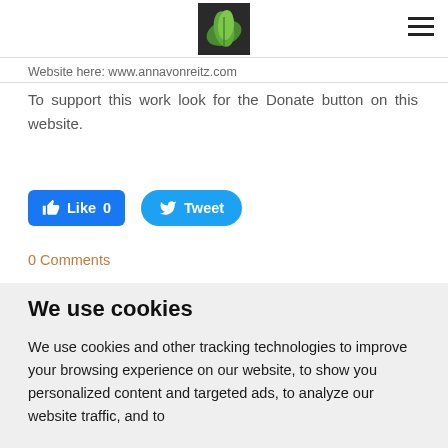[Logo: green leaf image] [Hamburger menu icon]
Website here: www.annavonreitz.com
To support this work look for the Donate button on this website.
[Figure (screenshot): Facebook Like button showing 'Like 0' and Twitter 'Tweet' button]
0 Comments
We use cookies
We use cookies and other tracking technologies to improve your browsing experience on our website, to show you personalized content and targeted ads, to analyze our website traffic, and to